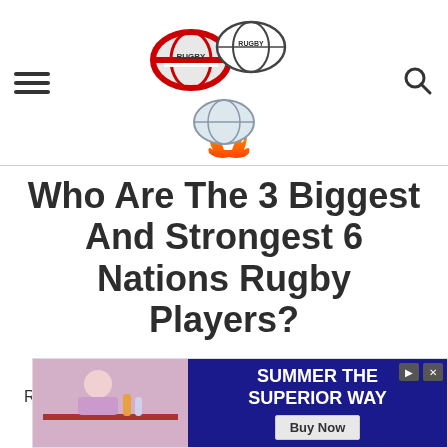[Figure (logo): Website logo showing two rugby balls (one red/white, one black/white outline) and a flaming rugby ball below, forming a triangular arrangement]
Who Are The 3 Biggest And Strongest 6 Nations Rugby Players?
Rugby players are famous for being big...
[Figure (screenshot): Advertisement banner: 'SUMMER THE SUPERIOR WAY' with Buy Now button on dark blue background, with image of person at table on left]